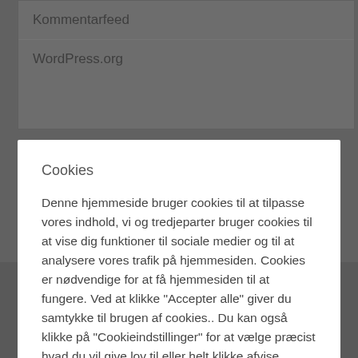Kommentarfeed
WordPress.org
Cookies
Denne hjemmeside bruger cookies til at tilpasse vores indhold, vi og tredjeparter bruger cookies til at vise dig funktioner til sociale medier og til at analysere vores trafik på hjemmesiden. Cookies er nødvendige for at få hjemmesiden til at fungere. Ved at klikke "Accepter alle" giver du samtykke til brugen af cookies.. Du kan også klikke på "Cookieindstillinger" for at vælge præcist hvad du vil give lov til eller helt klikke afvise.
Cookieindstillinger
Afvis
Accepter alle
CVR: 40080902
Privatlivspolitik